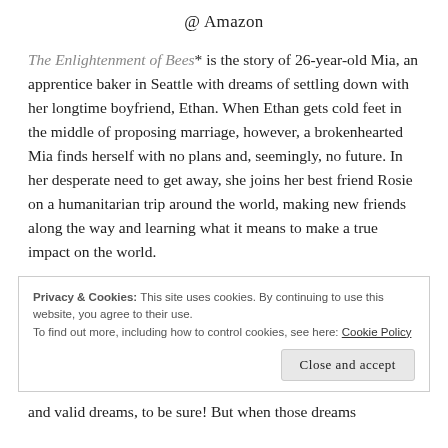@ Amazon
The Enlightenment of Bees* is the story of 26-year-old Mia, an apprentice baker in Seattle with dreams of settling down with her longtime boyfriend, Ethan. When Ethan gets cold feet in the middle of proposing marriage, however, a brokenhearted Mia finds herself with no plans and, seemingly, no future. In her desperate need to get away, she joins her best friend Rosie on a humanitarian trip around the world, making new friends along the way and learning what it means to make a true impact on the world.
Privacy & Cookies: This site uses cookies. By continuing to use this website, you agree to their use.
To find out more, including how to control cookies, see here: Cookie Policy
and valid dreams, to be sure! But when those dreams